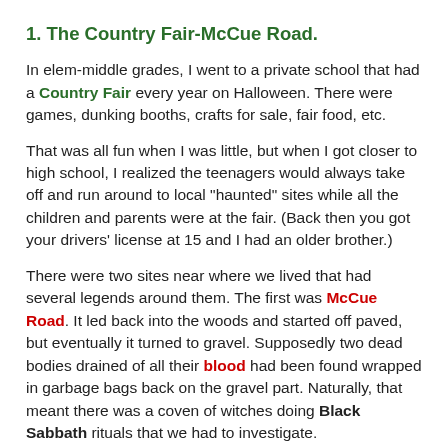1. The Country Fair-McCue Road.
In elem-middle grades, I went to a private school that had a Country Fair every year on Halloween. There were games, dunking booths, crafts for sale, fair food, etc.
That was all fun when I was little, but when I got closer to high school, I realized the teenagers would always take off and run around to local "haunted" sites while all the children and parents were at the fair. (Back then you got your drivers' license at 15 and I had an older brother.)
There were two sites near where we lived that had several legends around them. The first was McCue Road. It led back into the woods and started off paved, but eventually it turned to gravel. Supposedly two dead bodies drained of all their blood had been found wrapped in garbage bags back on the gravel part. Naturally, that meant there was a coven of witches doing Black Sabbath rituals that we had to investigate.